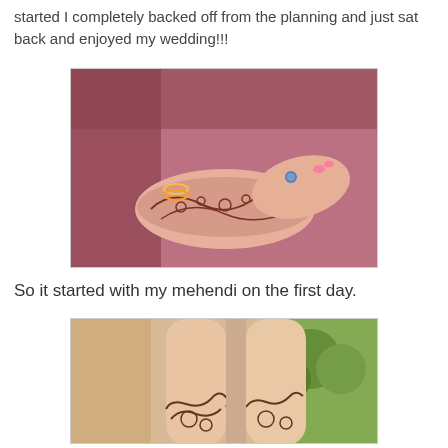started I completely backed off from the planning and just sat back and enjoyed my wedding!!!
[Figure (photo): Close-up photo of hands with henna/mehendi being applied, showing decorated wrist and hands with bangles and a blue ring, pink-painted nails visible on the artist's hand, reddish-toned image]
So it started with my mehendi on the first day.
[Figure (photo): Photo of legs/feet with henna/mehendi designs on the lower legs, green foliage visible in background, warm natural lighting]